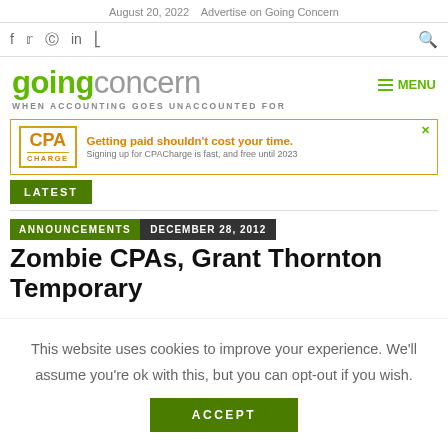August 20, 2022   Advertise on Going Concern
f  𝕏  ⊕  in  ⊃  🔍
[Figure (logo): Going Concern logo: 'going' in green bold, 'concern' in gray, tagline 'WHEN ACCOUNTING GOES UNACCOUNTED FOR']
[Figure (infographic): CPA Charge advertisement: orange logo, 'Getting paid shouldn't cost your time.' headline in orange, 'Signing up for CPACharge is fast, and free until 2023' subtext]
LATEST
ANNOUNCEMENTS   DECEMBER 28, 2012
Zombie CPAs, Grant Thornton Temporary
This website uses cookies to improve your experience. We'll assume you're ok with this, but you can opt-out if you wish.
ACCEPT